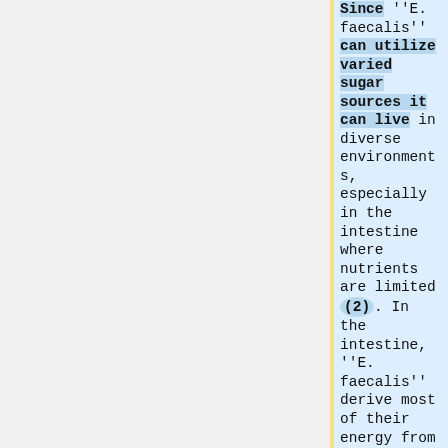Since ''E. faecalis'' can utilize varied sugar sources it can live in diverse environments, especially in the intestine where nutrients are limited (2). In the intestine, ''E. faecalis'' derive most of their energy from the